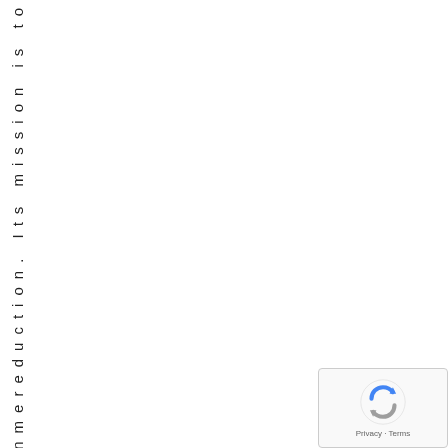nmereduction. Its mission is to
[Figure (logo): reCAPTCHA logo with Privacy and Terms text]